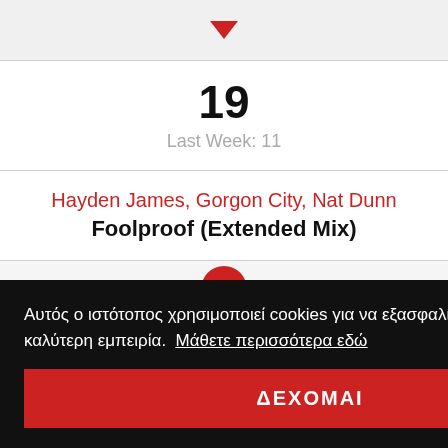[Figure (infographic): Red downward arrow icon on light gray background]
19
Last Week: 11
Hayden James, Gorgon City, Nat Dunn
Foolproof (Extended Mix)
[Figure (logo): YouTube red circular button icon]
Αυτός ο ιστότοπος χρησιμοποιεί cookies για να εξασφαλίσει ότι θα έχετε την καλύτερη εμπειρία.  Μάθετε περισσότερα εδώ
ΔΕΧΟΜΑΙ
Block & Crown, Jessy Saunders
Forget Me Not (Club mix)